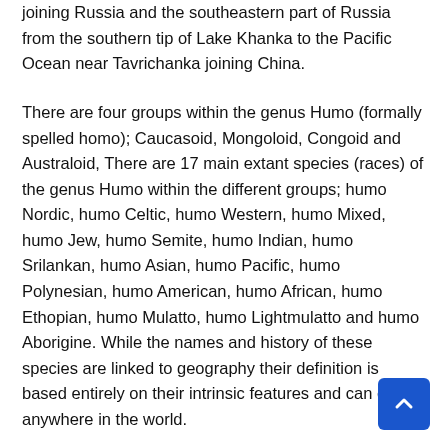joining Russia and the southeastern part of Russia from the southern tip of Lake Khanka to the Pacific Ocean near Tavrichanka joining China.
There are four groups within the genus Humo (formally spelled homo); Caucasoid, Mongoloid, Congoid and Australoid, There are 17 main extant species (races) of the genus Humo within the different groups; humo Nordic, humo Celtic, humo Western, humo Mixed, humo Jew, humo Semite, humo Indian, humo Srilankan, humo Asian, humo Pacific, humo Polynesian, humo American, humo African, humo Ethopian, humo Mulatto, humo Lightmulatto and humo Aborigine. While the names and history of these species are linked to geography their definition is based entirely on their intrinsic features and can exist anywhere in the world.